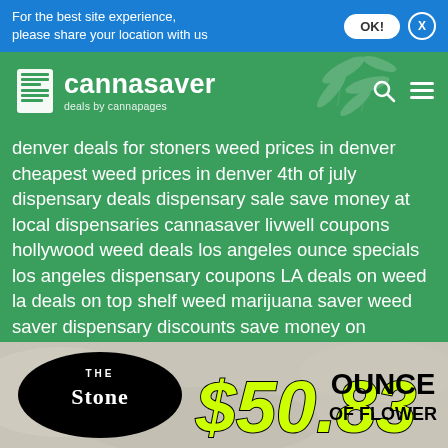For the best site experience, please share your location with us
[Figure (logo): Cannasaver logo - deals by cannapages, on green background with cannabis leaf decorations]
denver deals for stoners weed prices in denver cheapest weed prices in denver 4th of july dispensary deals dispensary sale save money at local dispensaries cannasaver livwell coupons hollywood weed deals los angeles ounce specials los angeles dispensary coupons LA deals on weed la deals on top shelf weed marijuana saver weed saver dispensary discounts save money on marijuana the lodge on high st the lodge dispensary the lodge dispensary deals dispensary coupons from the lodge denver dispensary coupons buy cheap weed ganja How to smoke out of an apple healthy smoking accessories save money as a stoner distillate syringe sugar wax thc dispensary open till 8 pm smoking accessories canna cavi
[Figure (infographic): The Stone dispensary advertisement banner: The Stone logo in black oval, $50.83 price in large yellow text, OUNCE OF FLOWER in large black text, on mottled gray/earth background]